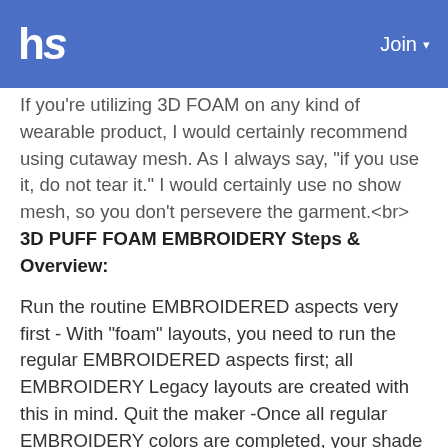hs   Join ▾
If you're utilizing 3D FOAM on any kind of wearable product, I would certainly recommend using cutaway mesh. As I always say, "if you use it, do not tear it." I would certainly use no show mesh, so you don't persevere the garment.<br> 3D PUFF FOAM EMBROIDERY Steps & Overview:
Run the routine EMBROIDERED aspects very first - With "foam" layouts, you need to run the regular EMBROIDERED aspects first; all EMBROIDERY Legacy layouts are created with this in mind. Quit the maker -Once all regular EMBROIDERY colors are completed, your shade info sheet will certainly provide you a recommended string shade and say the word "foam" after it. When reaching this shade modification, the style needs